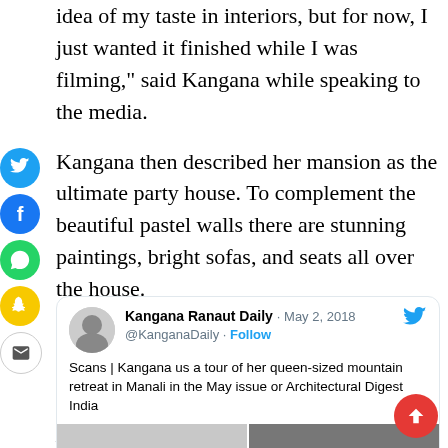idea of my taste in interiors, but for now, I just wanted it finished while I was filming," said Kangana while speaking to the media.
Kangana then described her mansion as the ultimate party house. To complement the beautiful pastel walls there are stunning paintings, bright sofas, and seats all over the house.
On the work front, Kangana will be seen playing the role of the warrior princess Rani Lakshmi Bhai in her biopic titled Manikarnika: The queen of Jhansi.
[Figure (screenshot): Embedded tweet from @KanganaDaily dated May 2, 2018: 'Scans | Kangana us a tour of her queen-sized mountain retreat in Manali in the May issue or Architectural Digest India' with two small images below.]